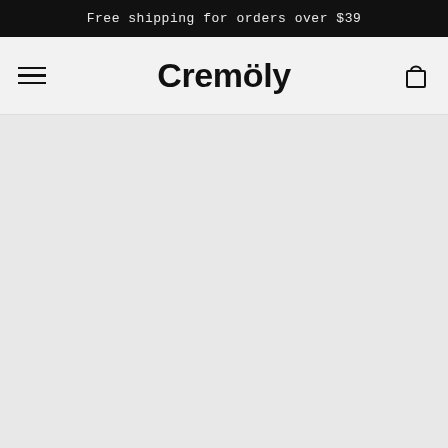Free shipping for orders over $39
Cremöly
[Figure (other): Large empty gray content area below the navigation bar]